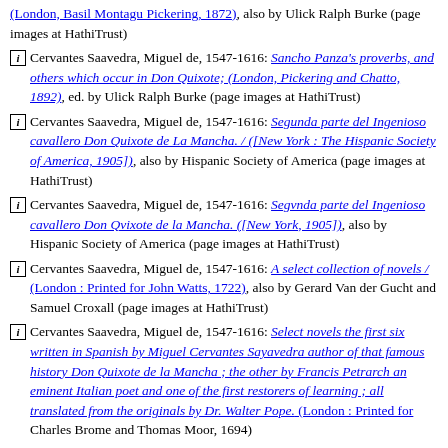(London, Basil Montagu Pickering, 1872), also by Ulick Ralph Burke (page images at HathiTrust)
Cervantes Saavedra, Miguel de, 1547-1616: Sancho Panza's proverbs, and others which occur in Don Quixote; (London, Pickering and Chatto, 1892), ed. by Ulick Ralph Burke (page images at HathiTrust)
Cervantes Saavedra, Miguel de, 1547-1616: Segunda parte del Ingenioso cavallero Don Quixote de La Mancha. / ([New York : The Hispanic Society of America, 1905]), also by Hispanic Society of America (page images at HathiTrust)
Cervantes Saavedra, Miguel de, 1547-1616: Segvnda parte del Ingenioso cavallero Don Qvixote de la Mancha. ([New York, 1905]), also by Hispanic Society of America (page images at HathiTrust)
Cervantes Saavedra, Miguel de, 1547-1616: A select collection of novels / (London : Printed for John Watts, 1722), also by Gerard Van der Gucht and Samuel Croxall (page images at HathiTrust)
Cervantes Saavedra, Miguel de, 1547-1616: Select novels the first six written in Spanish by Miguel Cervantes Sayavedra author of that famous history Don Quixote de la Mancha ; the other by Francis Petrarch an eminent Italian poet and one of the first restorers of learning ; all translated from the originals by Dr. Walter Pope. (London : Printed for Charles Brome and Thomas Moor, 1694) (page images at HathiTrust)